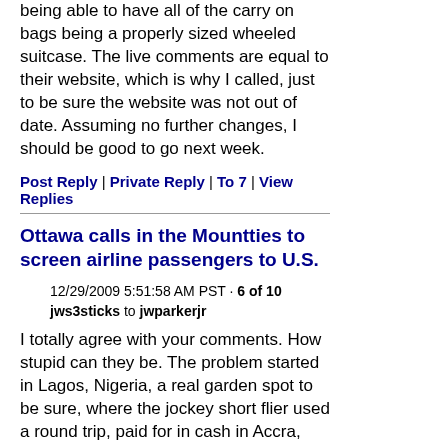being able to have all of the carry on bags being a properly sized wheeled suitcase. The live comments are equal to their website, which is why I called, just to be sure the website was not out of date. Assuming no further changes, I should be good to go next week.
Post Reply | Private Reply | To 7 | View Replies
Ottawa calls in the Mounties to screen airline passengers to U.S.
12/29/2009 5:51:58 AM PST · 6 of 10
jws3sticks to jwparkerjr
I totally agree with your comments. How stupid can they be. The problem started in Lagos, Nigeria, a real garden spot to be sure, where the jockey short flier used a round trip, paid for in cash in Accra, Ghana eight days before the flight. When departing he reportedly got on the Amsterdam/Detroit flight without a pass port. I have not seen if he flew from the Lagos/Amsterdam with or without a passport or just bribed his way on the